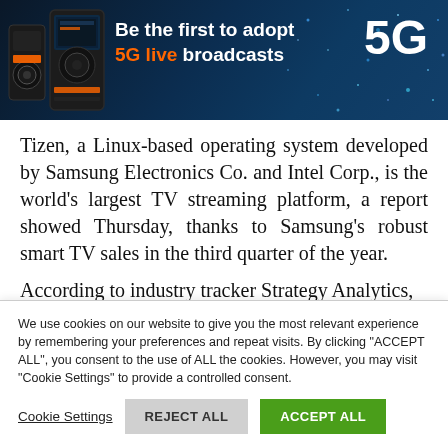[Figure (infographic): Advertisement banner: '5G live broadcasts' with device image on dark blue background with sparkle effects and large '5G' text]
Tizen, a Linux-based operating system developed by Samsung Electronics Co. and Intel Corp., is the world's largest TV streaming platform, a report showed Thursday, thanks to Samsung's robust smart TV sales in the third quarter of the year.
According to industry tracker Strategy Analytics,
We use cookies on our website to give you the most relevant experience by remembering your preferences and repeat visits. By clicking "ACCEPT ALL", you consent to the use of ALL the cookies. However, you may visit "Cookie Settings" to provide a controlled consent.